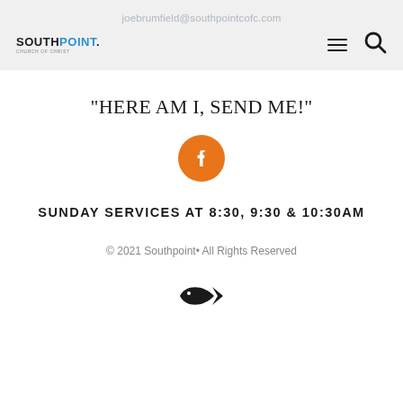joebrumfield@southpointcofc.com
[Figure (logo): Southpoint Church of Christ logo with navigation hamburger menu and search icon]
"HERE AM I, SEND ME!"
[Figure (illustration): Orange circular Facebook icon button]
SUNDAY SERVICES AT 8:30, 9:30 & 10:30AM
© 2021 Southpoint• All Rights Reserved
[Figure (illustration): Christian ichthys fish symbol in black]